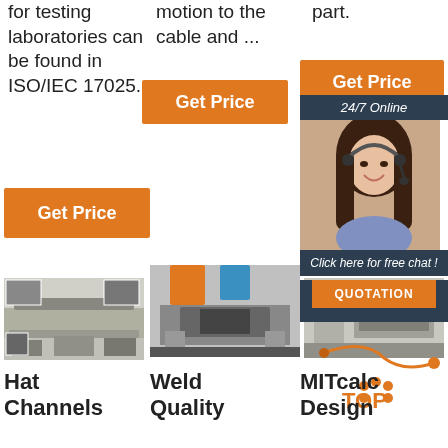for testing laboratories can be found in ISO/IEC 17025.
motion to the cable and ...
part.
[Figure (other): Orange Get Price button (column 2 top)]
[Figure (other): Orange Get Price button (column 3 top)]
[Figure (other): 24/7 Online chat widget with woman photo and QUOTATION button]
[Figure (other): Orange Get Price button (column 1 bottom)]
[Figure (photo): Hat Channel manufacturing machinery photo]
[Figure (photo): Weld Quality press machinery photo]
[Figure (photo): MITcalc Design machinery photo with TOP logo]
Hat Channels
Weld Quality
MITcalc Design